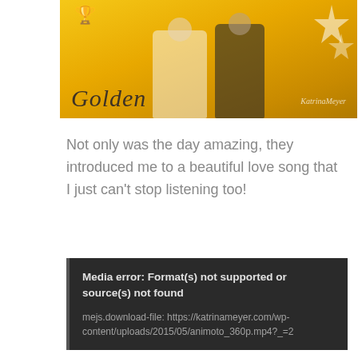[Figure (photo): Two people posing in front of a golden backdrop with 'Golden' text and star decorations. A woman in white and a man in a dark suit. Watermark reads 'KatrinaMeyer'.]
Not only was the day amazing, they introduced me to a beautiful love song that I just can't stop listening too!
Media error: Format(s) not supported or source(s) not found

mejs.download-file: https://katrinameyer.com/wp-content/uploads/2015/05/animoto_360p.mp4?_=2